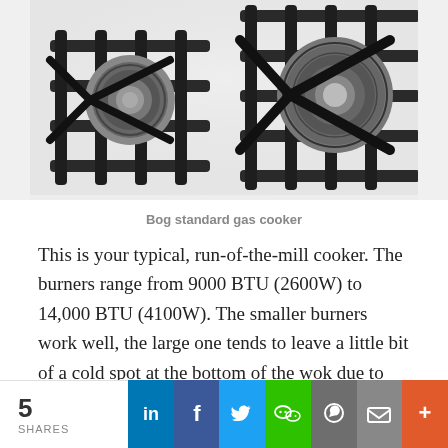[Figure (photo): Close-up photograph of a gas cooker hob showing black cast iron pan supports and two burners on a white enamel surface]
Bog standard gas cooker
This is your typical, run-of-the-mill cooker. The burners range from 9000 BTU (2600W) to 14,000 BTU (4100W). The smaller burners work well, the large one tends to leave a little bit of a cold spot at the bottom of the wok due to the flames pattern, but so long as the wok is moved around a bit, this works fine. The power, however, is far too low to stir-fry with any chance of getting a nice charred taste, and putting too much cold food into the wok will lead to it boiling instead of frying. Some people are being ripped off
5 SHARES | LinkedIn | Facebook | Twitter | WeChat | WhatsApp | Email | More